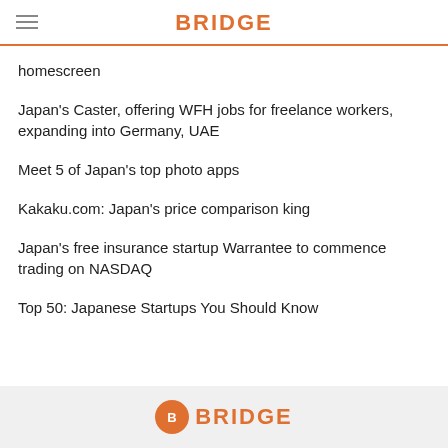BRIDGE
homescreen
Japan's Caster, offering WFH jobs for freelance workers, expanding into Germany, UAE
Meet 5 of Japan's top photo apps
Kakaku.com: Japan's price comparison king
Japan's free insurance startup Warrantee to commence trading on NASDAQ
Top 50: Japanese Startups You Should Know
BRIDGE